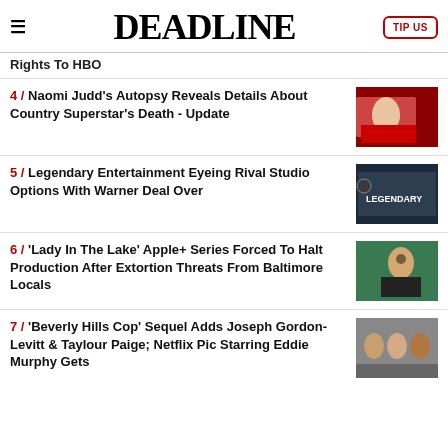DEADLINE | TIP US
Rights To HBO
4 / Naomi Judd's Autopsy Reveals Details About Country Superstar's Death - Update
5 / Legendary Entertainment Eyeing Rival Studio Options With Warner Deal Over
6 / 'Lady In The Lake' Apple+ Series Forced To Halt Production After Extortion Threats From Baltimore Locals
7 / 'Beverly Hills Cop' Sequel Adds Joseph Gordon-Levitt & Taylour Paige; Netflix Pic Starring Eddie Murphy Gets